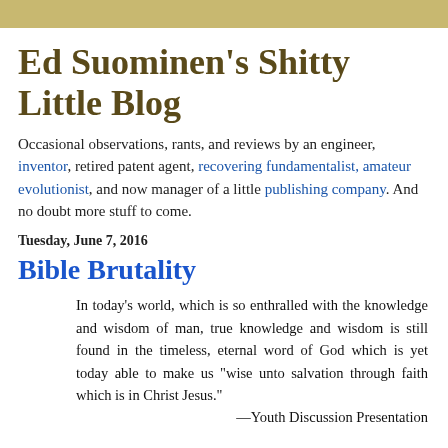Ed Suominen’s Shitty Little Blog
Occasional observations, rants, and reviews by an engineer, inventor, retired patent agent, recovering fundamentalist, amateur evolutionist, and now manager of a little publishing company. And no doubt more stuff to come.
Tuesday, June 7, 2016
Bible Brutality
In today’s world, which is so enthralled with the knowledge and wisdom of man, true knowledge and wisdom is still found in the timeless, eternal word of God which is yet today able to make us “wise unto salvation through faith which is in Christ Jesus.”
—Youth Discussion Presentation